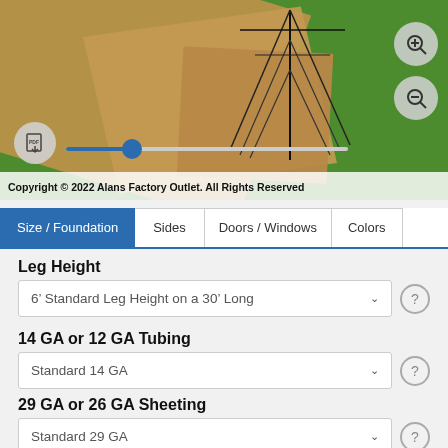[Figure (screenshot): 3D rendering of a metal building structure on grass and sand/dirt ground, with PDF download icon, zoom controls, and a slider for rotating the view. Copyright notice at bottom.]
Copyright © 2022 Alans Factory Outlet. All Rights Reserved
Size / Foundation | Sides | Doors / Windows | Colors
Leg Height
6′ Standard Leg Height on a 30′ Long
14 GA or 12 GA Tubing
Standard 14 GA
29 GA or 26 GA Sheeting
Standard 29 GA